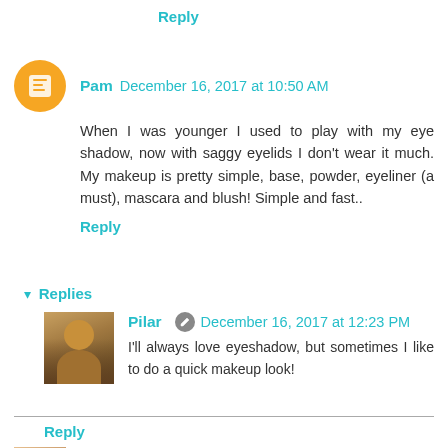Reply
Pam  December 16, 2017 at 10:50 AM
When I was younger I used to play with my eye shadow, now with saggy eyelids I don't wear it much. My makeup is pretty simple, base, powder, eyeliner (a must), mascara and blush! Simple and fast..
Reply
▾ Replies
Pilar  December 16, 2017 at 12:23 PM
I'll always love eyeshadow, but sometimes I like to do a quick makeup look!
Reply
Adriana Leandro  December 16, 2017 at 10:54 AM